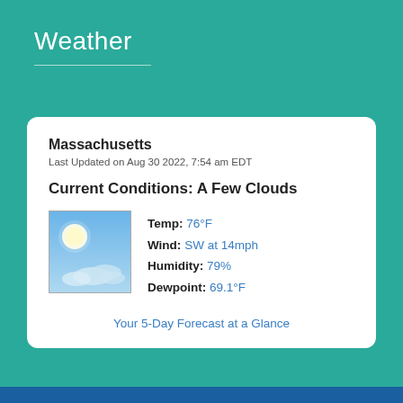Weather
Massachusetts
Last Updated on Aug 30 2022, 7:54 am EDT
Current Conditions: A Few Clouds
[Figure (photo): Sky with few clouds and bright sun - partly cloudy weather icon]
Temp: 76°F
Wind: SW at 14mph
Humidity: 79%
Dewpoint: 69.1°F
Your 5-Day Forecast at a Glance